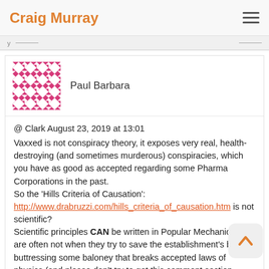Craig Murray
[Figure (other): Avatar image for user Paul Barbara - geometric pink and white diamond/checkerboard pattern]
Paul Barbara
@ Clark August 23, 2019 at 13:01
Vaxxed is not conspiracy theory, it exposes very real, health-destroying (and sometimes murderous) conspiracies, which you have as good as accepted regarding some Pharma Corporations in the past.
So the 'Hills Criteria of Causation':
http://www.drabruzzi.com/hills_criteria_of_causation.htm is not scientific?
Scientific principles CAN be written in Popular Mechanics, but are often not when they try to save the establishment's butt by buttressing some baloney that breaks accepted laws of physics (and please don't try to get this comment section closed down as